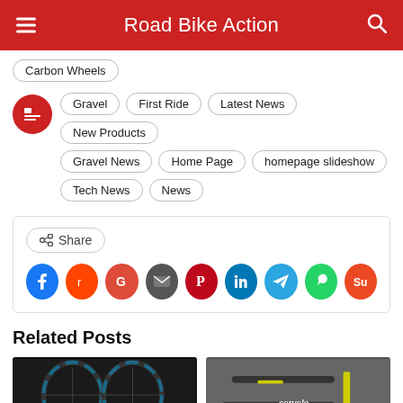Road Bike Action
Carbon Wheels
Gravel, First Ride, Latest News, New Products, Gravel News, Home Page, homepage slideshow, Tech News, News
Share
[Figure (screenshot): Share section with social media icons: Facebook, Reddit, Google, Email, Pinterest, LinkedIn, Telegram, WhatsApp, StumbleUpon]
Related Posts
[Figure (photo): Two carbon bicycle wheels leaning against each other]
[Figure (photo): Cervelo road bike with yellow fork displayed at what appears to be a bike show]